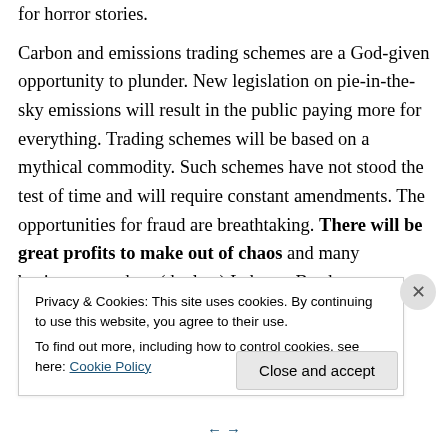for horror stories.
Carbon and emissions trading schemes are a God-given opportunity to plunder. New legislation on pie-in-the-sky emissions will result in the public paying more for everything. Trading schemes will be based on a mythical commodity. Such schemes have not stood the test of time and will require constant amendments. The opportunities for fraud are breathtaking. There will be great profits to make out of chaos and many businesses such as (the late) Lehman Brothers positioned themselves to make a billion. Some opportunists are not as nice...
Privacy & Cookies: This site uses cookies. By continuing to use this website, you agree to their use.
To find out more, including how to control cookies, see here: Cookie Policy
Close and accept